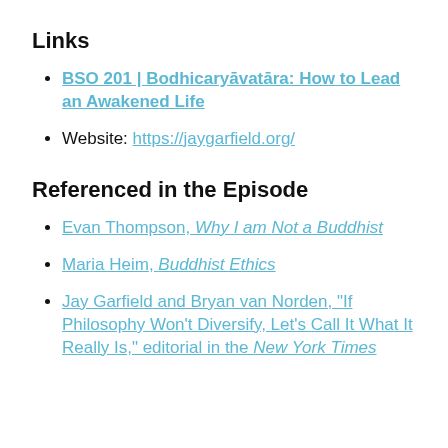Links
BSO 201 | Bodhicaryāvatāra: How to Lead an Awakened Life
Website: https://jaygarfield.org/
Referenced in the Episode
Evan Thompson, Why I am Not a Buddhist
Maria Heim, Buddhist Ethics
Jay Garfield and Bryan van Norden, "If Philosophy Won't Diversify, Let's Call It What It Really Is," editorial in the New York Times